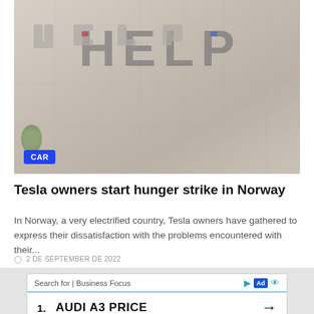[Figure (photo): Aerial view of a parking lot with cars arranged to spell out the word HELP, with a blue CAR label badge in the bottom left corner.]
Tesla owners start hunger strike in Norway
In Norway, a very electrified country, Tesla owners have gathered to express their dissatisfaction with the problems encountered with their...
2 DE SEPTEMBER DE 2022
Search for | Business Focus  Ad  1.  AUDI A3 PRICE  →
ADVERTISEMENT